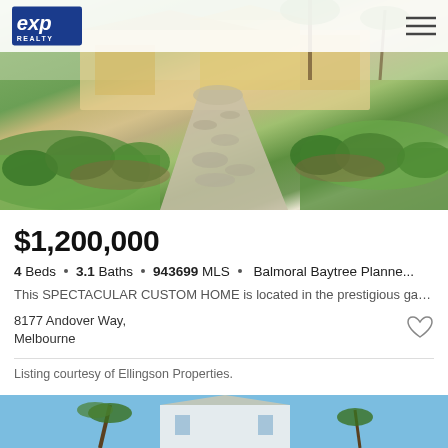[Figure (photo): Exterior photo of a luxury home with paved driveway, green lawn and landscaping]
eXp Realty logo and navigation hamburger menu
$1,200,000
4 Beds · 3.1 Baths · 943699 MLS · Balmoral Baytree Planne...
This SPECTACULAR CUSTOM HOME is located in the prestigious gated golf co...
8177 Andover Way,
Melbourne
Listing courtesy of Ellingson Properties.
[Figure (photo): Exterior photo of a white house with blue sky background and palm trees]